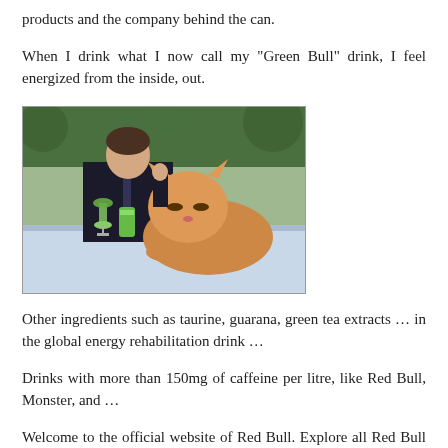products and the company behind the can.
When I drink what I now call my "Green Bull" drink, I feel energized from the inside, out.
[Figure (photo): A man in a dark suit sitting at a white table outdoors, holding a green wine glass next to a green energy drink can, with a large orange cat lying on the table beside him. Trees visible in background.]
Other ingredients such as taurine, guarana, green tea extracts … in the global energy rehabilitation drink …
Drinks with more than 150mg of caffeine per litre, like Red Bull, Monster, and …
Welcome to the official website of Red Bull. Explore all Red Bull products and the company